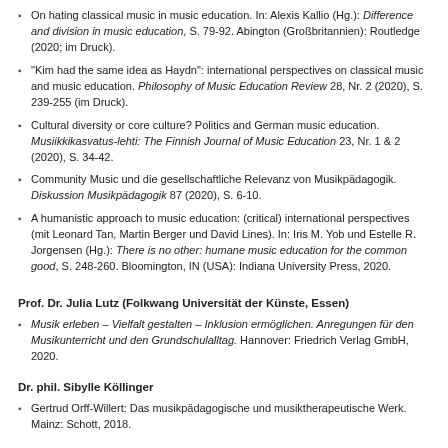On hating classical music in music education. In: Alexis Kallio (Hg.): Difference and division in music education, S. 79-92. Abington (Großbritannien): Routledge (2020; im Druck).
"Kim had the same idea as Haydn": international perspectives on classical music and music education. Philosophy of Music Education Review 28, Nr. 2 (2020), S. 239-255 (im Druck).
Cultural diversity or core culture? Politics and German music education. Musiikkikasvatus-lehti: The Finnish Journal of Music Education 23, Nr. 1 & 2 (2020), S. 34-42.
Community Music und die gesellschaftliche Relevanz von Musikpädagogik. Diskussion Musikpädagogik 87 (2020), S. 6-10.
A humanistic approach to music education: (critical) international perspectives (mit Leonard Tan, Martin Berger und David Lines). In: Iris M. Yob und Estelle R. Jorgensen (Hg.): There is no other: humane music education for the common good, S. 248-260. Bloomington, IN (USA): Indiana University Press, 2020.
Prof. Dr. Julia Lutz (Folkwang Universität der Künste, Essen)
Musik erleben – Vielfalt gestalten – Inklusion ermöglichen. Anregungen für den Musikunterricht und den Grundschulalltag. Hannover: Friedrich Verlag GmbH, 2020.
Dr. phil. Sibylle Köllinger
Gertrud Orff-Willert: Das musikpädagogische und musiktherapeutische Werk. Mainz: Schott, 2018.